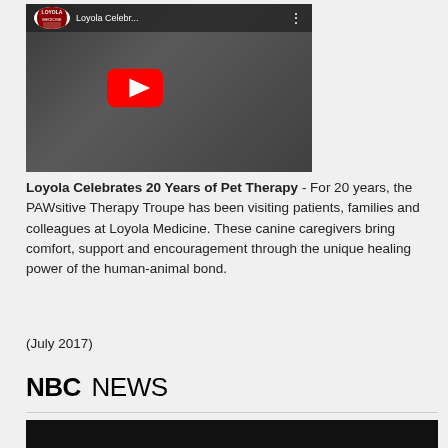[Figure (screenshot): YouTube video thumbnail showing 'Loyola Celebr...' with a Loyola Medicine logo, a woman in white coat with a dog, and a red YouTube play button]
Loyola Celebrates 20 Years of Pet Therapy - For 20 years, the PAWsitive Therapy Troupe has been visiting patients, families and colleagues at Loyola Medicine. These canine caregivers bring comfort, support and encouragement through the unique healing power of the human-animal bond.
(July 2017)
[Figure (logo): NBC NEWS logo in bold black text]
[Figure (screenshot): Bottom of page showing a black video bar from NBC News]